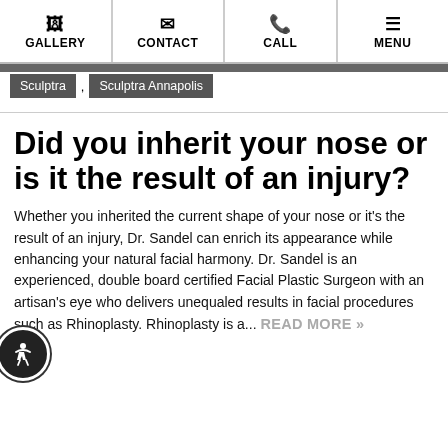GALLERY  CONTACT  CALL  MENU
Sculptra , Sculptra Annapolis
Did you inherit your nose or is it the result of an injury?
Whether you inherited the current shape of your nose or it's the result of an injury, Dr. Sandel can enrich its appearance while enhancing your natural facial harmony. Dr. Sandel is an experienced, double board certified Facial Plastic Surgeon with an artisan's eye who delivers unequaled results in facial procedures such as Rhinoplasty. Rhinoplasty is a... READ MORE »